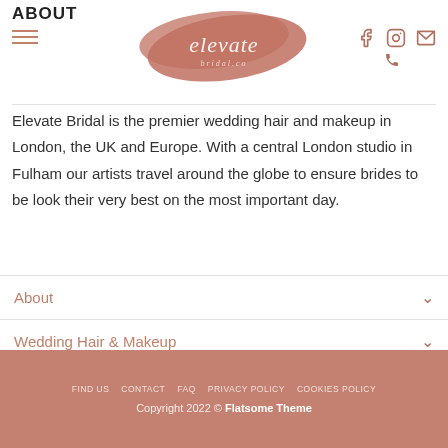ABOUT
[Figure (logo): Elevate bridal logo — handwritten script on a terracotta brushstroke background]
Elevate Bridal is the premier wedding hair and makeup in London, the UK and Europe. With a central London studio in Fulham our artists travel around the globe to ensure brides to be look their very best on the most important day.
About
Wedding Hair & Makeup
Contact
FIND US   CONTACT   FAQ   PRIVACY POLICY   COOKIES POLICY
Copyright 2022 © Flatsome Theme